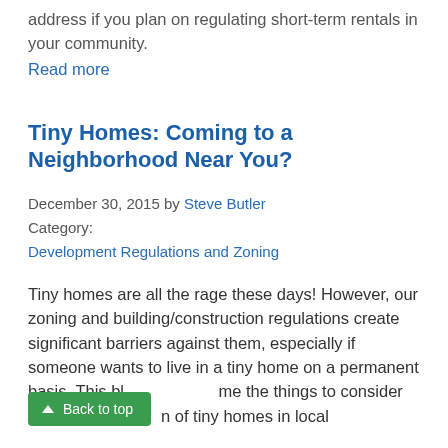address if you plan on regulating short-term rentals in your community.
Read more
Tiny Homes: Coming to a Neighborhood Near You?
December 30, 2015 by Steve Butler
Category:
Development Regulations and Zoning
Tiny homes are all the rage these days! However, our zoning and building/construction regulations create significant barriers against them, especially if someone wants to live in a tiny home on a permanent basis. This bl... me the things to consider in... n of tiny homes in local